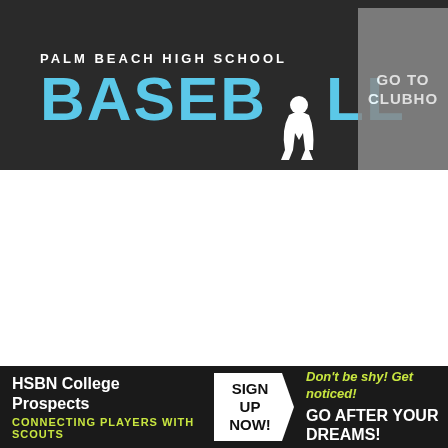[Figure (logo): Palm Beach High School Baseball banner logo with player silhouette and 'GO TO CLUBHOUSE' button]
| Player | AB | R | H | RBI | 2B | 3B | HR | BB | SO |  |
| --- | --- | --- | --- | --- | --- | --- | --- | --- | --- | --- |
| Guerrero, Jordi | 4 | 1 | 1 | 2 | 0 | 0 | 1 | 0 | 0 | 0 |
| Hickman, Davin | 4 | 0 | 0 | 0 | 0 | 0 | 0 | 0 | 0 | 0 |
| Martinez, Kevin | 4 | 1 | 1 | 0 | 0 | 0 | 0 | 0 | 0 | 0 |
| Masters, Dylan | 4 | 0 | 0 | 0 | 0 | 0 | 0 | 0 | 0 | 0 |
| Mueller, Jake | 4 | 0 | 2 | 2 | 2 | 0 | 0 | 0 | 0 | 0 |
| Richardson II, Jason | 0 | 1 | 0 | 0 | 0 | 0 | 0 | 0 | 0 | 0 |
[Figure (infographic): HSBN College Prospects ad banner: CONNECTING PLAYERS WITH SCOUTS / SIGN UP NOW! / Don't be shy! Get noticed! GO AFTER YOUR DREAMS!]